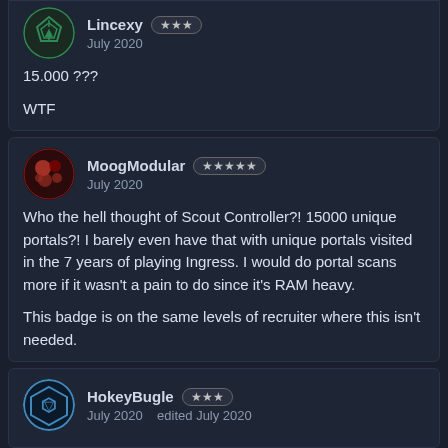Lincexy ★★★
July 2020

15.000 ???

WTF
MoogModular ★★★★★
July 2020

Who the hell thought of Scout Controller?! 15000 unique portals?! I barely even have that with unique portals visited in the 7 years of playing Ingress. I would do portal scans more if it wasn't a pain to do since it's RAM heavy.

This badge is on the same levels of recruiter where this isn't needed.
HokeyBugle ★★★
July 2020   edited July 2020